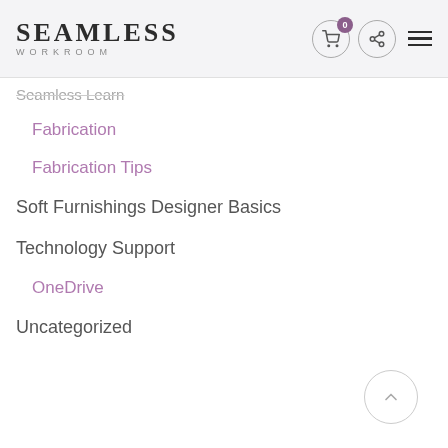[Figure (logo): Seamless Workroom logo with cart and share icons and hamburger menu]
Seamless Learn
Fabrication
Fabrication Tips
Soft Furnishings Designer Basics
Technology Support
OneDrive
Uncategorized